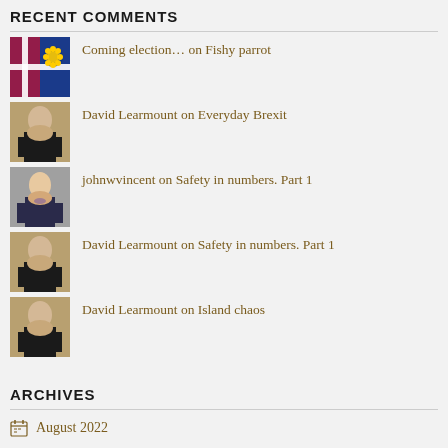RECENT COMMENTS
Coming election… on Fishy parrot
David Learmount on Everyday Brexit
johnwvincent on Safety in numbers. Part 1
David Learmount on Safety in numbers. Part 1
David Learmount on Island chaos
ARCHIVES
August 2022